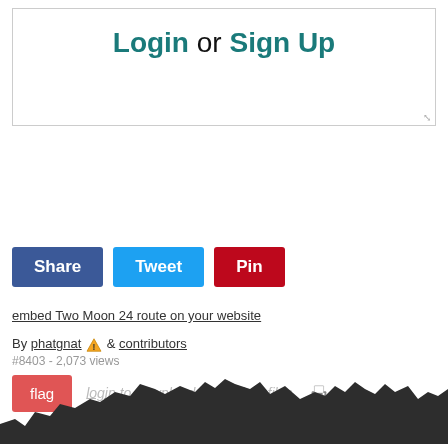Login or Sign Up
embed Two Moon 24 route on your website
By phatgnat ⚠ & contributors
#8403 - 2,073 views
login to download gpx or kml files.
[Figure (illustration): Mountain/terrain silhouette at the bottom of the page]